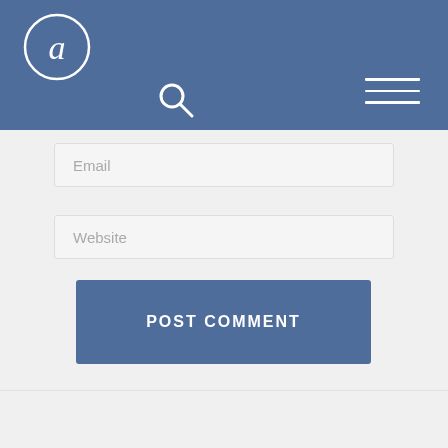[Figure (logo): Circular logo with stylized letter 'a' in white on blue background, top-left of navigation header]
[Figure (other): Search icon (magnifying glass) centered in header]
[Figure (other): Hamburger menu icon (three horizontal white lines) on right side of header]
Email
Website
POST COMMENT